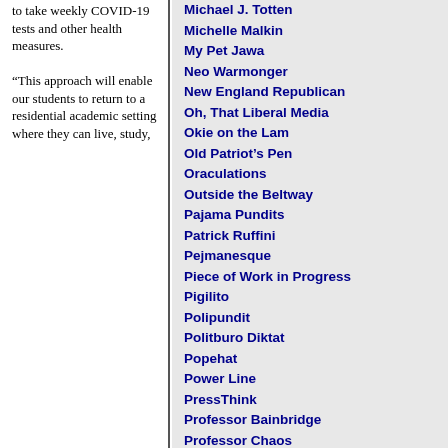to take weekly COVID-19 tests and other health measures.

“This approach will enable our students to return to a residential academic setting where they can live, study,
Michael J. Totten
Michelle Malkin
My Pet Jawa
Neo Warmonger
New England Republican
Oh, That Liberal Media
Okie on the Lam
Old Patriot’s Pen
Oraculations
Outside the Beltway
Pajama Pundits
Patrick Ruffini
Pejmanesque
Piece of Work in Progress
Pigilito
Polipundit
Politburo Diktat
Popehat
Power Line
PressThink
Professor Bainbridge
Professor Chaos
Pundit Review
Radley Balko
Ramblings’ Journal
RantingProfs
Real Clear Politics Blog
Right Wing News
Rightwing Nuthouse
Roger L. Simon
Say Uncle
ScrappleFace